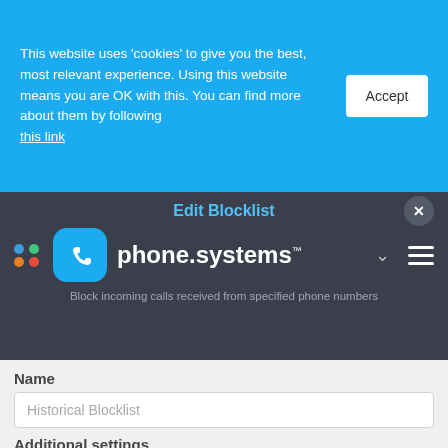This website uses 'cookies' to give you the best, most relevant experience. Using this website means you are OK with this. You can find more about them by following this link
Accept
[Figure (screenshot): Navigation bar with phone.systems logo, Edit Blocklist dialog header, close button, and subtitle about blocking calls]
Name
Historical Blocklist
Additional settings
Block empty Caller IDs
Block Caller IDs containing letters
Numbers
+ Add number